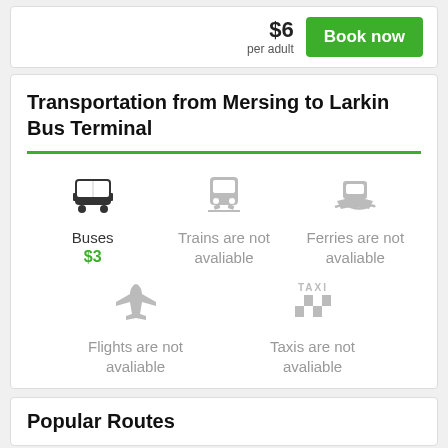$6 per adult
Book now
Transportation from Mersing to Larkin Bus Terminal
Buses $3
Trains are not avaliable
Ferries are not avaliable
Flights are not avaliable
Taxis are not avaliable
Popular Routes